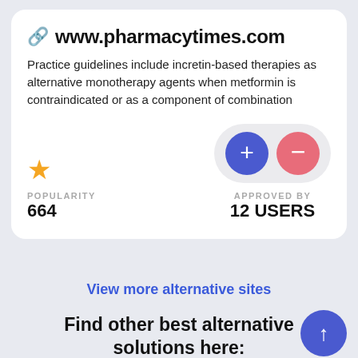www.pharmacytimes.com
Practice guidelines include incretin-based therapies as alternative monotherapy agents when metformin is contraindicated or as a component of combination
POPULARITY 664
APPROVED BY 12 USERS
View more alternative sites
Find other best alternative solutions here: